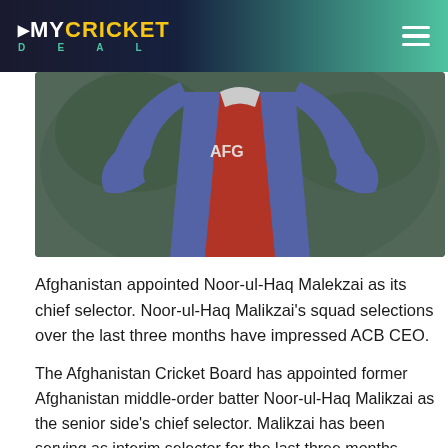MYCRICKET DEAL
[Figure (photo): Afghanistan cricket player wearing blue and red Afghanistan jersey with arms raised, photographed against a green blurred background, cropped to show torso and jersey with 'AFGH' text visible]
Afghanistan appointed Noor-ul-Haq Malekzai as its chief selector. Noor-ul-Haq Malikzai's squad selections over the last three months have impressed ACB CEO.
The Afghanistan Cricket Board has appointed former Afghanistan middle-order batter Noor-ul-Haq Malikzai as the senior side's chief selector. Malikzai has been serving as interim selector for the last three months. After Asadullah Khan stepped down, and he has done an excellent job thus far. Afghanistan's youth team performed